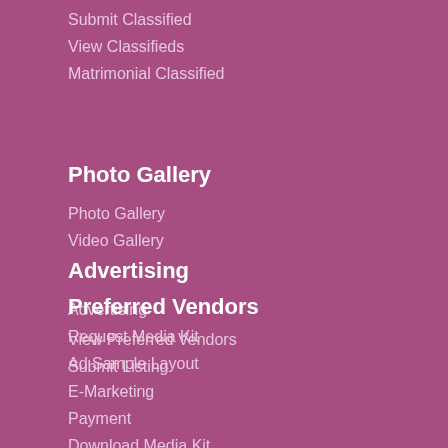Submit Classified
View Classifieds
Matrimonial Classified
Photo Gallery
Photo Gallery
Video Gallery
Advertising
Advertising
Request Media Kit
Ad Sample Layout
E-Marketing
Payment
Download Media Kit
Upload File
Preferred Vendors
View Preferred Vendors
Submit Listing